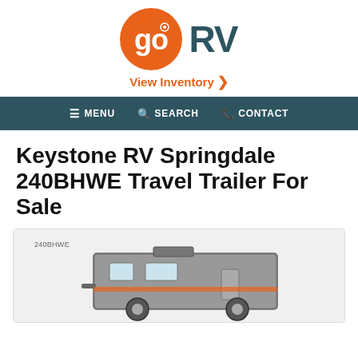[Figure (logo): Go RV logo: orange circle with white 'go' text, followed by dark teal 'RV' text]
View Inventory >
≡ MENU   🔍 SEARCH   📞 CONTACT
Keystone RV Springdale 240BHWE Travel Trailer For Sale
[Figure (photo): Product photo of Keystone RV Springdale 240BHWE travel trailer, showing side view of the trailer unit with model label '240BHWE' visible]